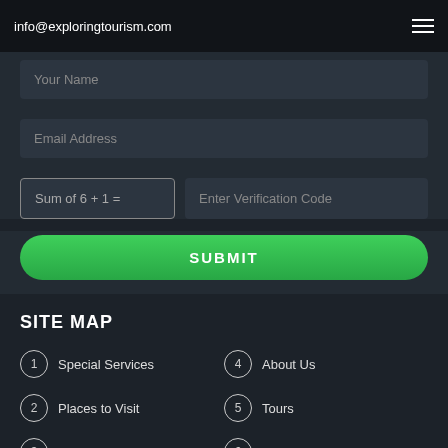info@exploringtourism.com
Your Name
Email Address
Sum of 6 + 1 =
Enter Verification Code
SUBMIT
SITE MAP
1 Special Services
2 Places to Visit
3 Sitemap
4 About Us
5 Tours
6 Contact
We use cookies to ensure that we give you the best experience on our website Accept Cookies Policy
Send Us Your Travel Enquiry